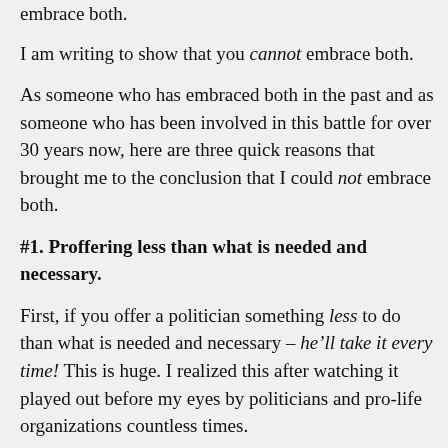embrace both.
I am writing to show that you cannot embrace both.
As someone who has embraced both in the past and as someone who has been involved in this battle for over 30 years now, here are three quick reasons that brought me to the conclusion that I could not embrace both.
#1. Proffering less than what is needed and necessary.
First, if you offer a politician something less to do than what is needed and necessary – he’ll take it every time! This is huge. I realized this after watching it played out before my eyes by politicians and pro-life organizations countless times.
I realized that if I continue to offer politicians something